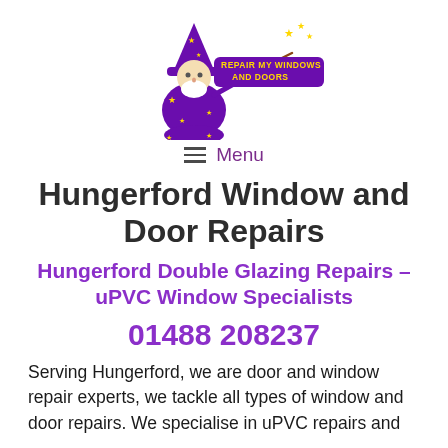[Figure (logo): Wizard mascot logo for Repair My Windows and Doors. A cartoon wizard in purple robe with stars, pointing a wand, with stars and the text 'REPAIR MY WINDOWS AND DOORS' in yellow on a purple banner.]
≡  Menu
Hungerford Window and Door Repairs
Hungerford Double Glazing Repairs – uPVC Window Specialists
01488 208237
Serving Hungerford, we are door and window repair experts, we tackle all types of window and door repairs. We specialise in uPVC repairs and